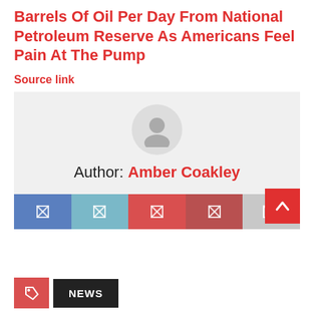Barrels Of Oil Per Day From National Petroleum Reserve As Americans Feel Pain At The Pump
Source link
[Figure (illustration): Author profile box with circular avatar placeholder icon and text 'Author: Amber Coakley']
[Figure (infographic): Social share bar with five buttons: Facebook (blue), Twitter (light blue), Reddit (red), Pinterest (dark red), Email (gray)]
[Figure (other): Back to top button (red, up arrow chevron)]
NEWS